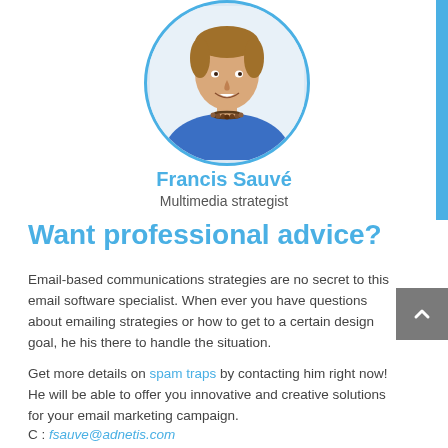[Figure (photo): Circular profile photo of Francis Sauvé, a man in a blue shirt with a bead necklace, smiling, with a blue circular border]
Francis Sauvé
Multimedia strategist
Want professional advice?
Email-based communications strategies are no secret to this email software specialist. When ever you have questions about emailing strategies or how to get to a certain design goal, he his there to handle the situation.
Get more details on spam traps by contacting him right now! He will be able to offer you innovative and creative solutions for your email marketing campaign.
C : fsauve@adnetis.com